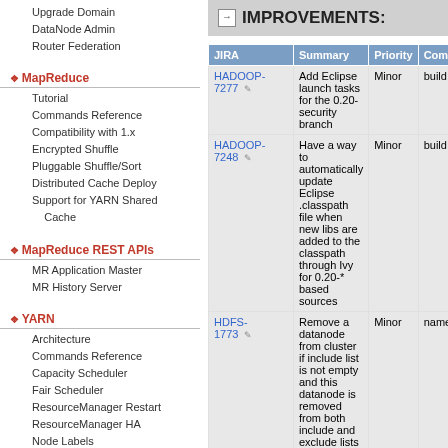Upgrade Domain
DataNode Admin
Router Federation
MapReduce
Tutorial
Commands Reference
Compatibility with 1.x
Encrypted Shuffle
Pluggable Shuffle/Sort
Distributed Cache Deploy
Support for YARN Shared Cache
MapReduce REST APIs
MR Application Master
MR History Server
YARN
Architecture
Commands Reference
Capacity Scheduler
Fair Scheduler
ResourceManager Restart
ResourceManager HA
Node Labels
Web Application Proxy
Timeline Server
Timeline Service V.2
Writing YARN Applications
YARN Application Security
NodeManager
DockerContainerExecutor
IMPROVEMENTS:
| JIRA | Summary | Priority | Com |
| --- | --- | --- | --- |
| HADOOP-7277 | Add Eclipse launch tasks for the 0.20-security branch | Minor | build |
| HADOOP-7248 | Have a way to automatically update Eclipse .classpath file when new libs are added to the classpath through Ivy for 0.20-* based sources | Minor | build |
| HDFS-1773 | Remove a datanode from cluster if include list is not empty and this datanode is removed from both include and exclude lists | Minor | name |
| MAPREDUCE-2524 | Backport trunk heuristics for failing maps when we get fetch failures | Minor | taskt |